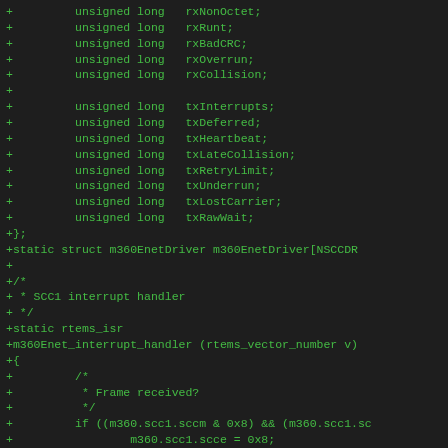[Figure (screenshot): Source code diff showing C struct fields and function definition with green text on dark background. Fields include rxNonOctet, rxRunt, rxBadCRC, rxOverrun, rxCollision, txInterrupts, txDeferred, txHeartbeat, txLateCollision, txRetryLimit, txUnderrun, txLostCarrier, txRawWait, closing brace, static struct declaration, comment block for SCC1 interrupt handler, static rtems_isr function declaration, opening brace, nested comment about Frame received, if statement, and several assignments/function calls.]